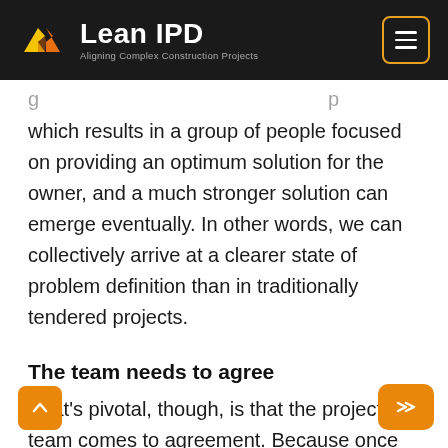Lean IPD — Aligning Complex Construction Projects
which results in a group of people focused on providing an optimum solution for the owner, and a much stronger solution can emerge eventually. In other words, we can collectively arrive at a clearer state of problem definition than in traditionally tendered projects.
The team needs to agree
What's pivotal, though, is that the project team comes to agreement. Because once we have this